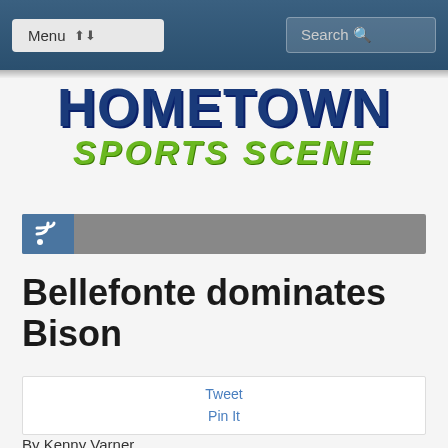Menu | Search
[Figure (logo): Hometown Sports Scene logo with blue bold HOMETOWN text and green italic SPORTS SCENE text below]
[Figure (other): RSS feed icon bar with blue icon box on left and gray bar extending to the right]
Bellefonte dominates Bison
Tweet
Pin It
By Kenny Varner
BELLEFONTE – It was a Friday night